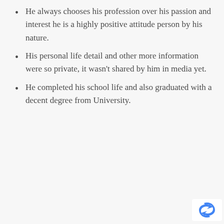He always chooses his profession over his passion and interest he is a highly positive attitude person by his nature.
His personal life detail and other more information were so private, it wasn't shared by him in media yet.
He completed his school life and also graduated with a decent degree from University.
[Figure (logo): reCAPTCHA logo - blue arrow icon]